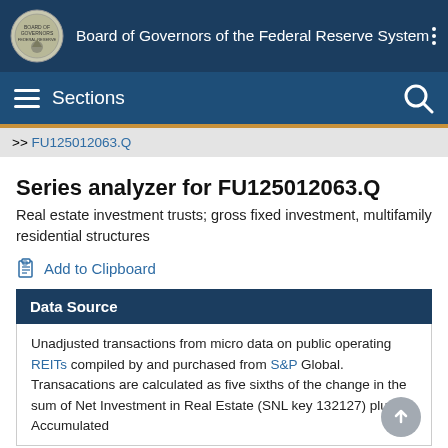Board of Governors of the Federal Reserve System
Sections
>> FU125012063.Q
Series analyzer for FU125012063.Q
Real estate investment trusts; gross fixed investment, multifamily residential structures
Add to Clipboard
Data Source
Unadjusted transactions from micro data on public operating REITs compiled by and purchased from S&P Global. Transacations are calculated as five sixths of the change in the sum of Net Investment in Real Estate (SNL key 132127) plus Accumulated